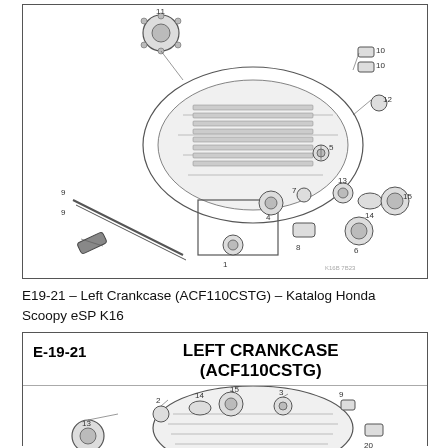[Figure (engineering-diagram): Exploded engineering diagram of a motorcycle crankcase assembly with numbered parts (1-15), showing gears, bearings, shafts, seals and crankcase body with callout lines to each component. Small watermark text K16B7B23 in lower right.]
E19-21 – Left Crankcase (ACF110CSTG) – Katalog Honda Scoopy eSP K16
[Figure (engineering-diagram): Exploded engineering diagram labeled E-19-21 LEFT CRANKCASE (ACF110CSTG) showing partial view of left crankcase assembly with numbered parts (2, 3, 9, 13, 14, 15, 20), gears, bearings, seals visible. Part of Honda Scoopy eSP K16 parts catalog.]